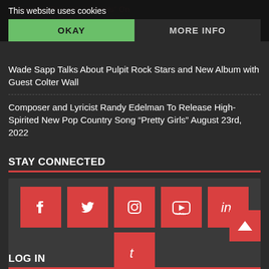This website uses cookies
OKAY
MORE INFO
...Tuesdays Presents "Animals" On ... PT on Twitch
Wade Sapp Talks About Pulpit Rock Stars and New Album with Guest Colter Wall
Composer and Lyricist Randy Edelman To Release High-Spirited New Pop Country Song “Pretty Girls” August 23rd, 2022
STAY CONNECTED
[Figure (other): Social media icons: Facebook, Twitter, Instagram, YouTube, LinkedIn, Tumblr on red square backgrounds]
LOG IN